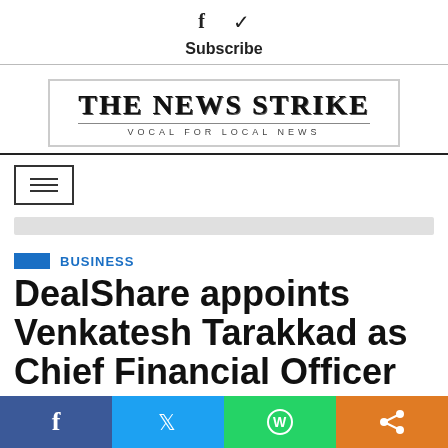f  ✓  Subscribe
[Figure (logo): The News Strike logo with tagline VOCAL FOR LOCAL NEWS]
[Figure (screenshot): Hamburger menu button and search bar]
BUSINESS
DealShare appoints Venkatesh Tarakkad as Chief Financial Officer
[Figure (infographic): Bottom social sharing bar with Facebook, Twitter, WhatsApp, and share icons]